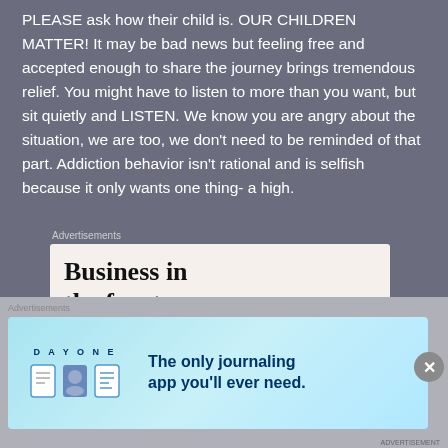PLEASE ask how their child is. OUR CHILDREN MATTER! It may be bad news but feeling free and accepted enough to share the journey brings tremendous relief. You might have to listen to more than you want, but sit quietly and LISTEN. We know you are angry about the situation, we are too, we don't need to be reminded of that part. Addiction behavior isn't rational and is selfish because it only wants one thing- a high.
[Figure (infographic): Advertisement block showing 'Business in the front...' headline on cream background, with WordPress logo on an orange-to-pink gradient bar]
[Figure (infographic): Day One journaling app advertisement on light blue background with brand name, icons, and tagline 'The only journaling app you'll ever need.']